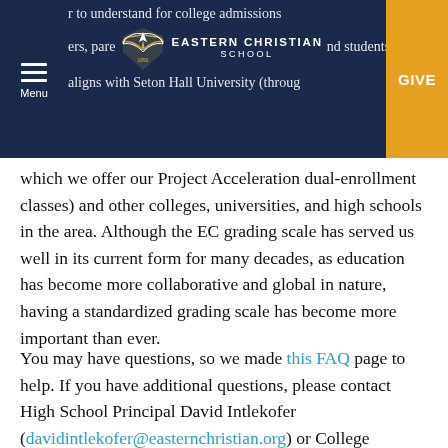r to understand for college admissions ers, parents and students. The new grading aligns with Seton Hall University (through — EASTERN CHRISTIAN SCHOOL — GIVE — Menu
which we offer our Project Acceleration dual-enrollment classes) and other colleges, universities, and high schools in the area. Although the EC grading scale has served us well in its current form for many decades, as education has become more collaborative and global in nature, having a standardized grading scale has become more important than ever.
You may have questions, so we made this FAQ page to help. If you have additional questions, please contact High School Principal David Intlekofer (davidintlekofer@easternchristian.org) or College